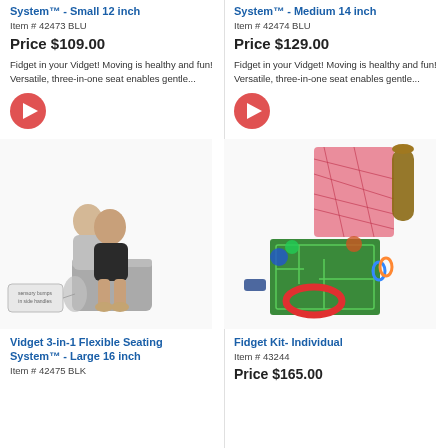System™ - Small 12 inch
Item # 42473 BLU
Price $109.00
Fidget in your Vidget! Moving is healthy and fun! Versatile, three-in-one seat enables gentle...
[Figure (photo): Play button icon (red circle with white triangle)]
System™ - Medium 14 inch
Item # 42474 BLU
Price $129.00
Fidget in your Vidget! Moving is healthy and fun! Versatile, three-in-one seat enables gentle...
[Figure (photo): Play button icon (red circle with white triangle)]
[Figure (photo): Two boys sitting on a grey flexible seat - Vidget 3-in-1 Flexible Seating System Large 16 inch product photo]
[Figure (photo): Fidget Kit Individual product photo showing a green maze board, a pink textured wall panel, various fidget toys, rings, and sensory items]
Vidget 3-in-1 Flexible Seating System™ - Large 16 inch
Item # 42475 BLK
Fidget Kit- Individual
Item # 43244
Price $165.00